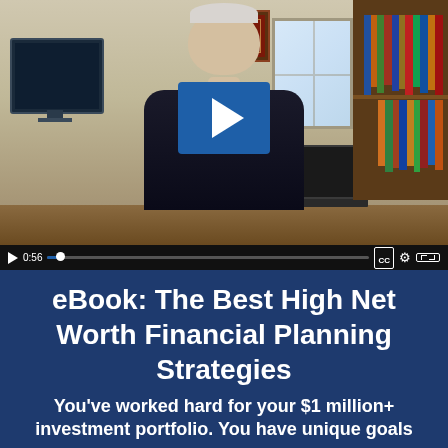[Figure (screenshot): Video player showing a man sitting at a desk in an office with monitors, bookshelves, window, and diploma on wall. A blue play button overlay is centered on the video. Video controls bar at bottom shows timestamp 0:56, progress bar, CC, settings, and fullscreen icons.]
eBook: The Best High Net Worth Financial Planning Strategies
You've worked hard for your $1 million+ investment portfolio. You have unique goals